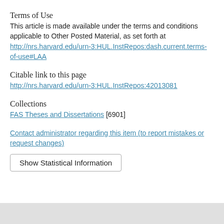Terms of Use
This article is made available under the terms and conditions applicable to Other Posted Material, as set forth at http://nrs.harvard.edu/urn-3:HUL.InstRepos:dash.current.terms-of-use#LAA
Citable link to this page
http://nrs.harvard.edu/urn-3:HUL.InstRepos:42013081
Collections
FAS Theses and Dissertations [6901]
Contact administrator regarding this item (to report mistakes or request changes)
Show Statistical Information